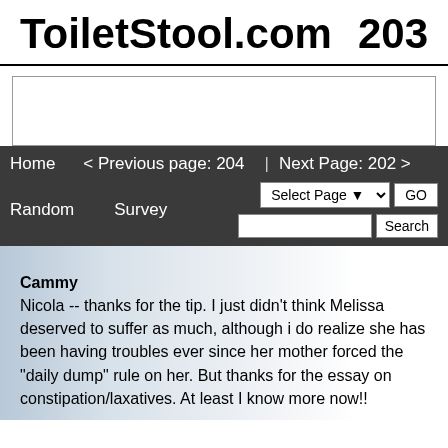ToiletStool.com    203
[Figure (other): Advertisement banner placeholder box]
Home   < Previous page: 204  |  Next Page: 202 >   Random   Survey   Select Page GO   Search
Cammy
Nicola -- thanks for the tip. I just didn't think Melissa deserved to suffer as much, although i do realize she has been having troubles ever since her mother forced the "daily dump" rule on her. But thanks for the essay on constipation/laxatives. At least I know more now!!